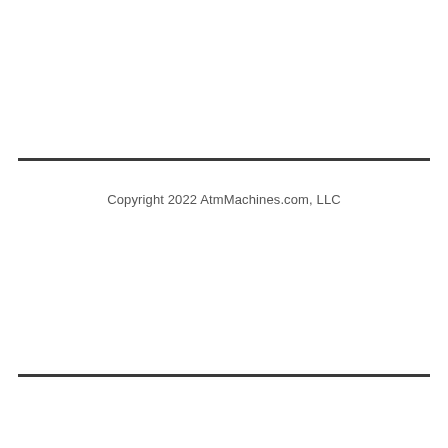Copyright 2022 AtmMachines.com, LLC